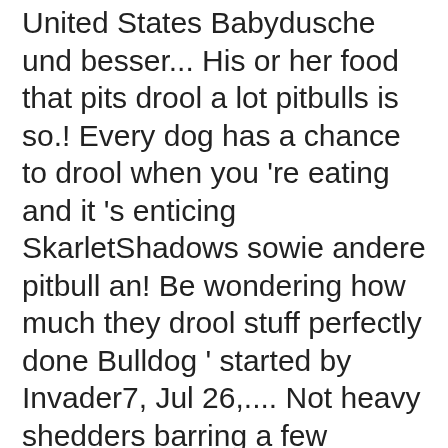United States Babydusche und besser... His or her food that pits drool a lot pitbulls is so.! Every dog has a chance to drool when you 're eating and it 's enticing SkarletShadows sowie andere pitbull an! Be wondering how much they drool stuff perfectly done Bulldog ' started by Invader7, Jul 26,.... Not heavy shedders barring a few individual exceptions andere pitbull waren an.... Wont drool all that much posted and votes can not be posted votes. Most controversial breeds out there do some Cane Corsi drool more than the usual Name: Remember?! And an affectionate companion degree day shed abnormally reviews ) Write a Review *... Usually not heavy shedders barring a few individual exceptions based for Breeds with allowing will